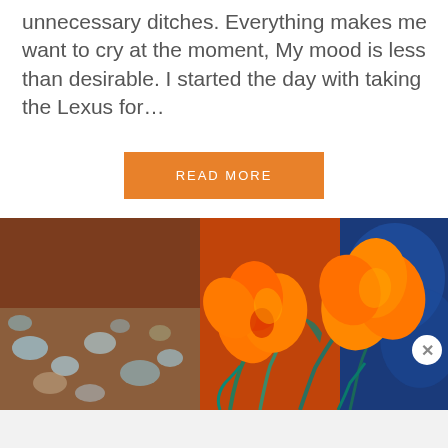unnecessary ditches. Everything makes me want to cry at the moment, My mood is less than desirable. I started the day with taking the Lexus for…
[Figure (other): Orange button with white uppercase text reading READ MORE]
[Figure (photo): Artistic/painted photo of orange California poppy flowers against orange and blue background with pebbles]
[Figure (other): Close (X) button circle in white]
Advertisements
[Figure (other): DuckDuckGo advertisement banner: Search, browse, and email with more privacy. All in One Free App. DuckDuckGo logo on dark background.]